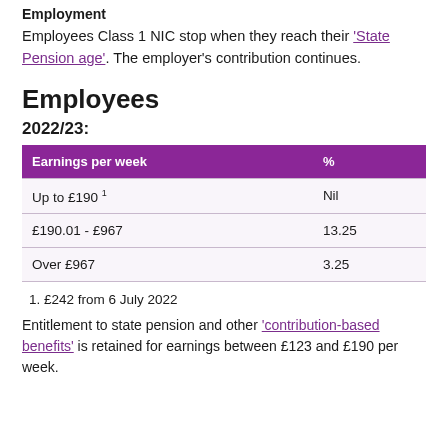Employment
Employees Class 1 NIC stop when they reach their 'State Pension age'. The employer's contribution continues.
Employees
2022/23:
| Earnings per week | % |
| --- | --- |
| Up to £190 ¹ | Nil |
| £190.01 - £967 | 13.25 |
| Over £967 | 3.25 |
1. £242 from 6 July 2022
Entitlement to state pension and other 'contribution-based benefits' is retained for earnings between £123 and £190 per week.